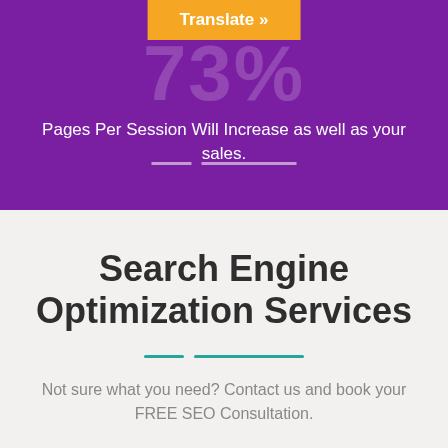[Figure (infographic): Orange 'Translate »' button at the top center, large faint '73%' text in the purple background, white text about pages per session, and decorative divider lines.]
Pages Per Session Will Increase as well as your sales.
Search Engine Optimization Services
Not sure what you need? Contact us and book your FREE SEO Consultation.